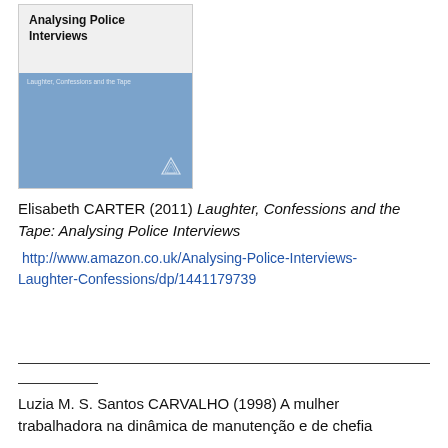[Figure (illustration): Book cover of 'Analysing Police Interviews: Laughter, Confessions and the Tape' by Elisabeth Carter, published 2011. Top half is light grey with bold black title text, bottom half is blue with a publisher logo.]
Elisabeth CARTER (2011) Laughter, Confessions and the Tape: Analysing Police Interviews http://www.amazon.co.uk/Analysing-Police-Interviews-Laughter-Confessions/dp/1441179739
Luzia M. S. Santos CARVALHO (1998) A mulher trabalhadora na dinâmica de manutenção e de chefia